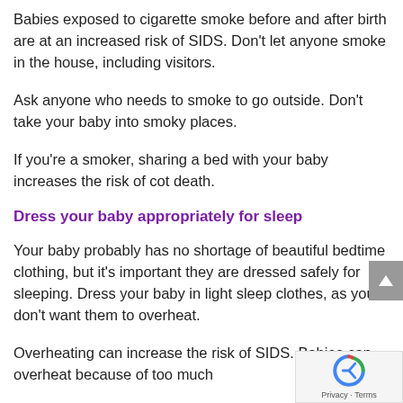Babies exposed to cigarette smoke before and after birth are at an increased risk of SIDS. Don't let anyone smoke in the house, including visitors.
Ask anyone who needs to smoke to go outside. Don't take your baby into smoky places.
If you're a smoker, sharing a bed with your baby increases the risk of cot death.
Dress your baby appropriately for sleep
Your baby probably has no shortage of beautiful bedtime clothing, but it's important they are dressed safely for sleeping. Dress your baby in light sleep clothes, as you don't want them to overheat.
Overheating can increase the risk of SIDS. Babies can overheat because of too much